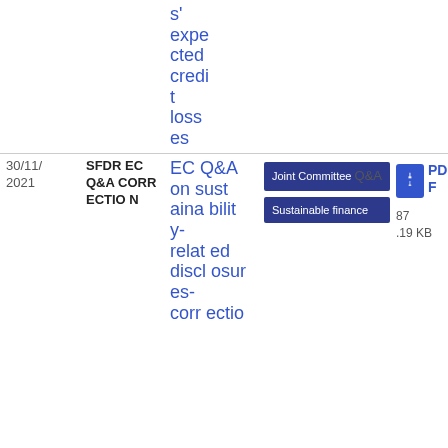| Date | Title | Link | Tags | Download |
| --- | --- | --- | --- | --- |
|  |  | s' expected credit losses |  |  |
| 30/11/2021 | SFDR EC Q&A CORRECTION | EC Q&A on sustainability-related disclosures-correctio | Joint Committee Q&A | Sustainable finance | PDF 87.19 KB |